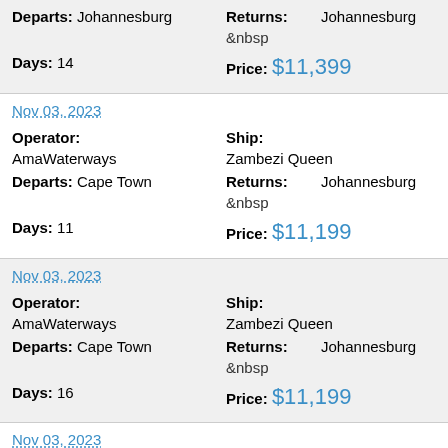| Departs: Johannesburg | Returns: Johannesburg &nbsp |
| Days: 14 | Price: $11,399 |
| Nov 03, 2023 |  |
| Operator: AmaWaterways | Ship: Zambezi Queen |
| Departs: Cape Town | Returns: Johannesburg &nbsp |
| Days: 11 | Price: $11,199 |
| Nov 03, 2023 |  |
| Operator: AmaWaterways | Ship: Zambezi Queen |
| Departs: Cape Town | Returns: Johannesburg &nbsp |
| Days: 16 | Price: $11,199 |
| Nov 03, 2023 |  |
| Operator: AmaWaterways | Ship: Zambezi Queen |
| Departs: Cape Town | Returns: Johannesburg &nbsp |